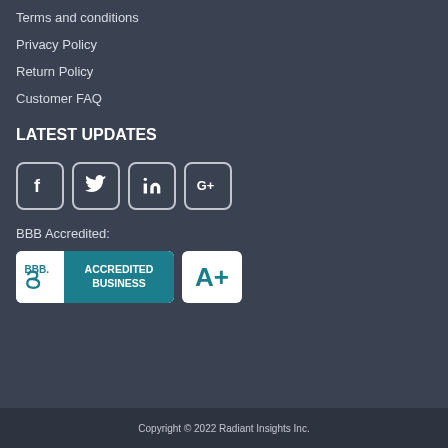Terms and conditions
Privacy Policy
Return Policy
Customer FAQ
LATEST UPDATES
[Figure (other): Social media icons: Facebook, Twitter, LinkedIn, Google+]
BBB Accredited:
[Figure (logo): BBB Accredited Business badge with teal background and A+ rating badge]
Copyright © 2022 Radiant Insights Inc.